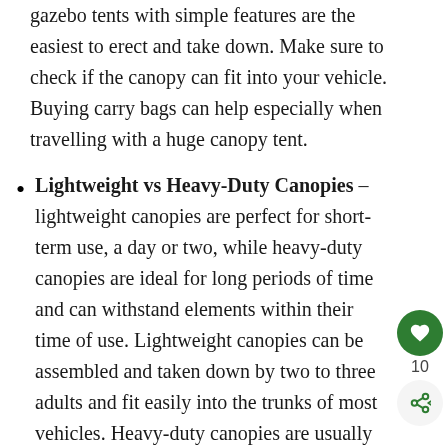gazebo tents with simple features are the easiest to erect and take down. Make sure to check if the canopy can fit into your vehicle. Buying carry bags can help especially when travelling with a huge canopy tent.
Lightweight vs Heavy-Duty Canopies – lightweight canopies are perfect for short-term use, a day or two, while heavy-duty canopies are ideal for long periods of time and can withstand elements within their time of use. Lightweight canopies can be assembled and taken down by two to three adults and fit easily into the trunks of most vehicles. Heavy-duty canopies are usually expensive but then they last longer than lightweight canopies.